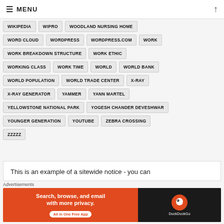MENU
WIKIPEDIA
WIPRO
WOODLAND NURSING HOME
WORD CLOUD
WORDPRESS
WORDPRESS.COM
WORK
WORK BREAKDOWN STRUCTURE
WORK ETHIC
WORKING CLASS
WORK TIME
WORLD
WORLD BANK
WORLD POPULATION
WORLD TRADE CENTER
X-RAY
X-RAY GENERATOR
YAMMER
YANN MARTEL
YELLOWSTONE NATIONAL PARK
YOGESH CHANDER DEVESHWAR
YOUNGER GENERATION
YOUTUBE
ZEBRA CROSSING
ZZZZZ
This is an example of a sitewide notice - you can
Advertisements
Search, browse, and email with more privacy. All in One Free App